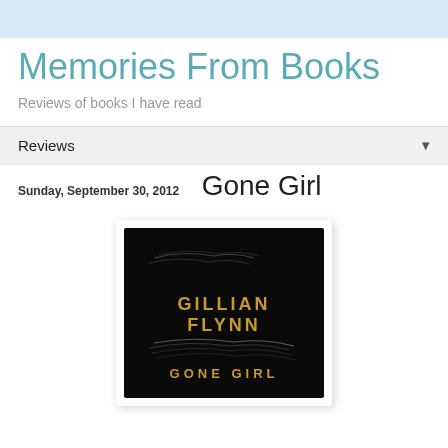Memories From Books
Reviews of books I have read
Reviews
Sunday, September 30, 2012
Gone Girl
[Figure (photo): Book cover of Gone Girl by Gillian Flynn — dark/black background with wispy white light streaks and the text GILLIAN FLYNN and GONE GIRL in gold/amber lettering]